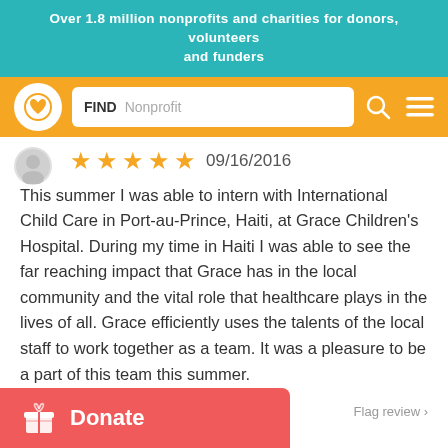Over 1.8 million nonprofits and charities for donors, volunteers and funders
[Figure (screenshot): Navigation bar with logo (circle with heart inside), search box labeled FIND Nonprofit, search icon, and hamburger menu icon on orange background]
[Figure (infographic): Five orange star rating icons followed by date 09/16/2016]
This summer I was able to intern with International Child Care in Port-au-Prince, Haiti, at Grace Children's Hospital. During my time in Haiti I was able to see the far reaching impact that Grace has in the local community and the vital role that healthcare plays in the lives of all. Grace efficiently uses the talents of the local staff to work together as a team. It was a pleasure to be a part of this team this summer.
[Figure (infographic): Donate button (red/coral) with gift icon and white bold text Donate]